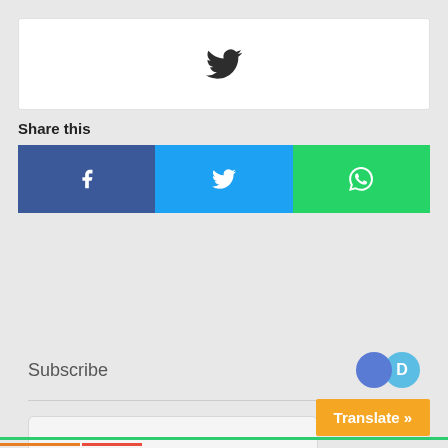[Figure (screenshot): Twitter embedded tweet widget with bird icon centered in white box]
Share this
[Figure (infographic): Three social share buttons: Facebook (blue, f icon), Twitter (light blue, bird icon), WhatsApp (green, phone/chat icon)]
Subscribe
Be the First to Comment!
0 COMMENTS
Translate »